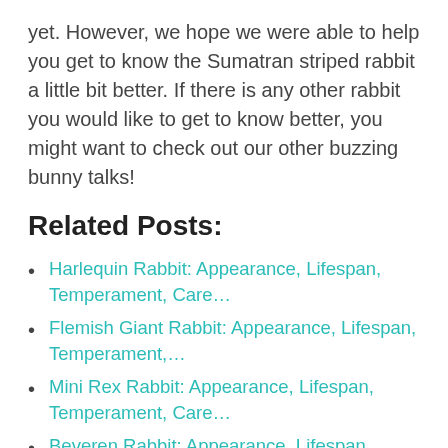yet. However, we hope we were able to help you get to know the Sumatran striped rabbit a little bit better. If there is any other rabbit you would like to get to know better, you might want to check out our other buzzing bunny talks!
Related Posts:
Harlequin Rabbit: Appearance, Lifespan, Temperament, Care…
Flemish Giant Rabbit: Appearance, Lifespan, Temperament,…
Mini Rex Rabbit: Appearance, Lifespan, Temperament, Care…
Beveren Rabbit: Appearance, Lifespan,